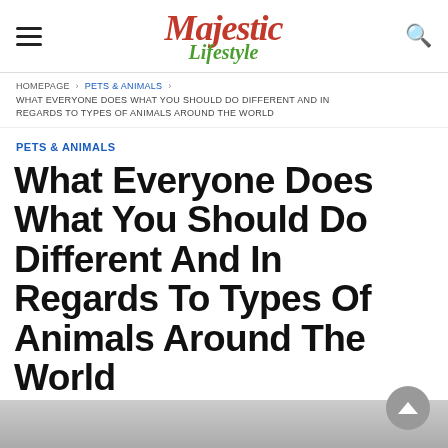Majestic Lifestyle
HOMEPAGE > PETS & ANIMALS > WHAT EVERYONE DOES WHAT YOU SHOULD DO DIFFERENT AND IN REGARDS TO TYPES OF ANIMALS AROUND THE WORLD
PETS & ANIMALS
What Everyone Does What You Should Do Different And In Regards To Types Of Animals Around The World